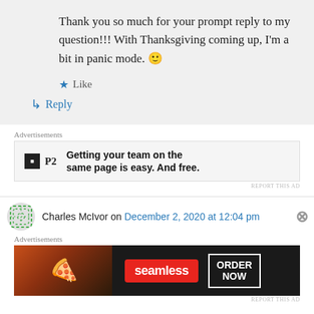Thank you so much for your prompt reply to my question!!! With Thanksgiving coming up, I'm a bit in panic mode. 🙂
★ Like
↳ Reply
Advertisements
[Figure (other): P2 advertisement banner: logo with 'P2' in a black box, text 'Getting your team on the same page is easy. And free.']
REPORT THIS AD
Charles McIvor on December 2, 2020 at 12:04 pm
Advertisements
[Figure (other): Seamless food delivery advertisement banner with pizza image, Seamless logo, and ORDER NOW button]